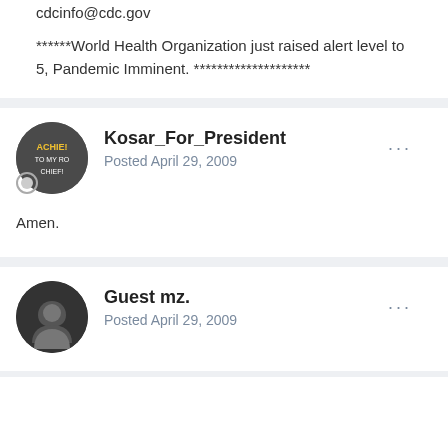cdcinfo@cdc.gov
******World Health Organization just raised alert level to 5, Pandemic Imminent. ********************
Kosar_For_President
Posted April 29, 2009
Amen.
Guest mz.
Posted April 29, 2009